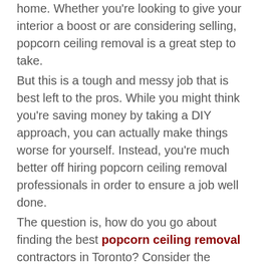home. Whether you're looking to give your interior a boost or are considering selling, popcorn ceiling removal is a great step to take. But this is a tough and messy job that is best left to the pros. While you might think you're saving money by taking a DIY approach, you can actually make things worse for yourself. Instead, you're much better off hiring popcorn ceiling removal professionals in order to ensure a job well done. The question is, how do you go about finding the best popcorn ceiling removal contractors in Toronto? Consider the following tips.
Ask Friends and Family
If you know anyone who has had their popcorn ceilings removed, ask about the contractors they hired to do the job. It's often best to get recommendations from actual clients to make sure the people you hire have a sound track record of doing a good job. Ask your friends, family